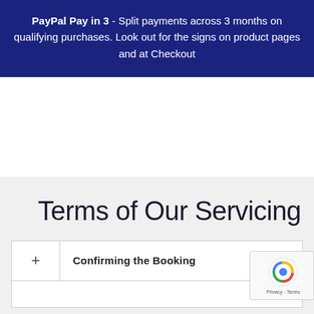PayPal Pay in 3 - Split payments across 3 months on qualifying purchases. Look out for the signs on product pages and at Checkout
Terms of Our Servicing
+ Confirming the Booking